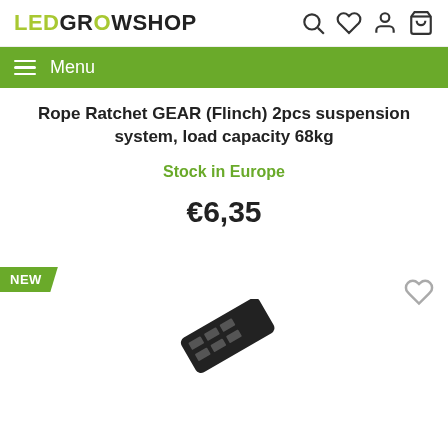LED GROWSHOP
Rope Ratchet GEAR (Flinch) 2pcs suspension system, load capacity 68kg
Stock in Europe
€6,35
[Figure (other): NEW badge label and product image thumbnail at bottom of page]